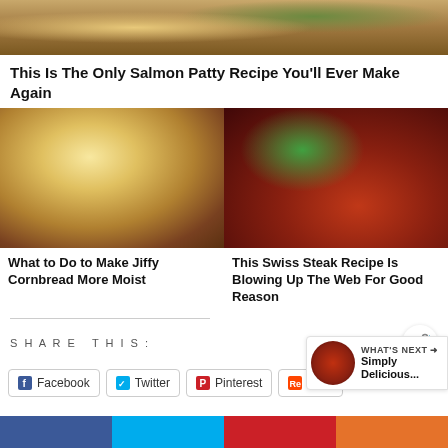[Figure (photo): Top food photo showing a baked salmon dish with green herbs]
This Is The Only Salmon Patty Recipe You'll Ever Make Again
[Figure (photo): Photo of jiffy cornbread slice with white frosting/glaze]
[Figure (photo): Photo of Swiss steak with red tomato sauce and green herb garnish]
What to Do to Make Jiffy Cornbread More Moist
This Swiss Steak Recipe Is Blowing Up The Web For Good Reason
SHARE THIS:
Facebook  Twitter  Pinterest  Re...
WHAT'S NEXT → Simply Delicious...